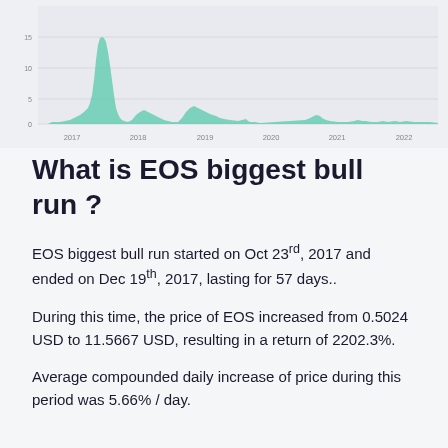[Figure (area-chart): Area chart showing EOS price over time from 2017 to 2022 with a large spike around 2018]
What is EOS biggest bull run ?
EOS biggest bull run started on Oct 23rd, 2017 and ended on Dec 19th, 2017, lasting for 57 days..
During this time, the price of EOS increased from 0.5024 USD to 11.5667 USD, resulting in a return of 2202.3%.
Average compounded daily increase of price during this period was 5.66% / day.